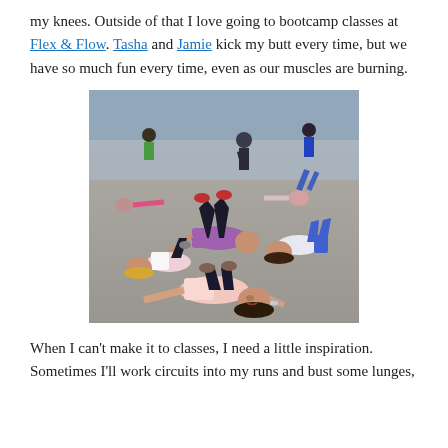my knees. Outside of that I love going to bootcamp classes at Flex & Flow. Tasha and Jamie kick my butt every time, but we have so much fun every time, even as our muscles are burning.
[Figure (photo): Group of people doing floor exercises at a large indoor bootcamp fitness class. Several women are lying on their backs on a gymnasium floor doing leg raises and glute bridges. Other participants visible in the background.]
When I can't make it to classes, I need a little inspiration. Sometimes I'll work circuits into my runs and bust some lunges,